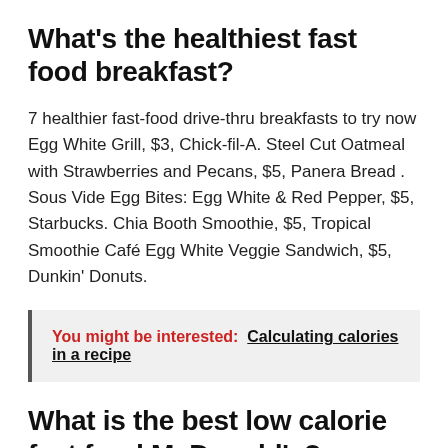What's the healthiest fast food breakfast?
7 healthier fast-food drive-thru breakfasts to try now Egg White Grill, $3, Chick-fil-A. Steel Cut Oatmeal with Strawberries and Pecans, $5, Panera Bread . Sous Vide Egg Bites: Egg White & Red Pepper, $5, Starbucks. Chia Booth Smoothie, $5, Tropical Smoothie Café Egg White Veggie Sandwich, $5, Dunkin' Donuts.
You might be interested:  Calculating calories in a recipe
What is the best low calorie fast food McDonald's?